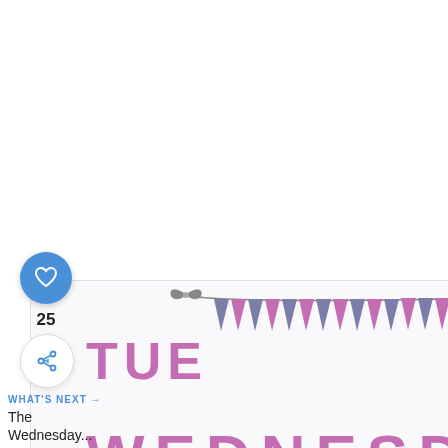[Figure (illustration): Screenshot of a blog post preview showing a 'Wednesday Link Party' graphic with colorful triangular bunting flags in pink and purple, and large text reading 'WEDNESDAY' in pink/purple letters. A UI overlay shows a blue heart/like button with count 25, a share button, and a 'WHAT'S NEXT' label with text 'The Wednesday...']
WHAT'S NEXT →
The Wednesday...